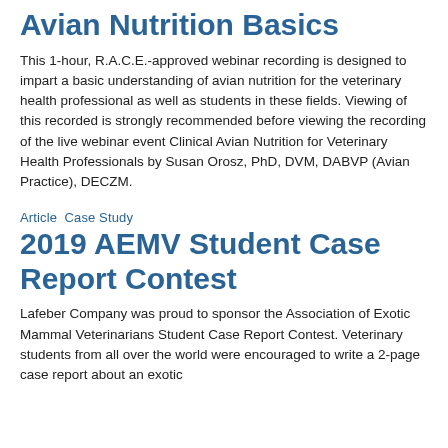Avian Nutrition Basics
This 1-hour, R.A.C.E.-approved webinar recording is designed to impart a basic understanding of avian nutrition for the veterinary health professional as well as students in these fields. Viewing of this recorded is strongly recommended before viewing the recording of the live webinar event Clinical Avian Nutrition for Veterinary Health Professionals by Susan Orosz, PhD, DVM, DABVP (Avian Practice), DECZM.
Article  Case Study
2019 AEMV Student Case Report Contest
Lafeber Company was proud to sponsor the Association of Exotic Mammal Veterinarians Student Case Report Contest. Veterinary students from all over the world were encouraged to write a 2-page case report about an exotic